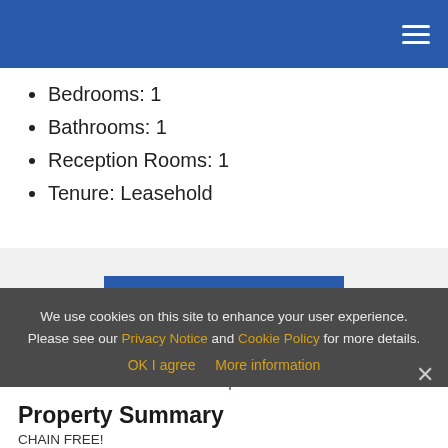Bedrooms: 1
Bathrooms: 1
Reception Rooms: 1
Tenure: Leasehold
MAKE ENQUIRY
Floorplan
View EPC
We use cookies on this site to enhance your user experience. Please see our Privacy Notice and Cookie Policy for more details.
OK I agree   More information
Property Summary
CHAIN FREE!